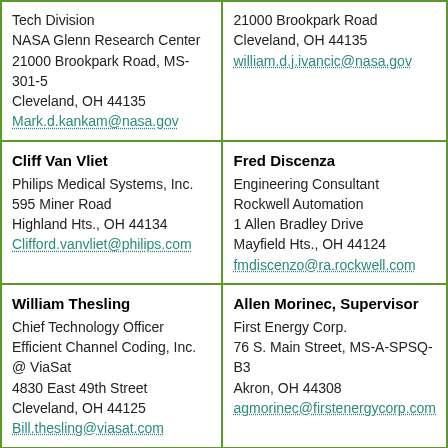| Tech Division
NASA Glenn Research Center
21000 Brookpark Road, MS-301-5
Cleveland, OH 44135
Mark.d.kankam@nasa.gov | 21000 Brookpark Road
Cleveland, OH 44135
william.d.j.ivancic@nasa.gov |
| Cliff Van Vliet
Philips Medical Systems, Inc.
595 Miner Road
Highland Hts., OH 44134
Clifford.vanvliet@philips.com | Fred Discenza
Engineering Consultant
Rockwell Automation
1 Allen Bradley Drive
Mayfield Hts., OH 44124
fmdiscenzo@ra.rockwell.com |
| William Thesling
Chief Technology Officer
Efficient Channel Coding, Inc. @ ViaSat
4830 East 49th Street
Cleveland, OH 44125
Bill.thesling@viasat.com | Allen Morinec, Supervisor
First Energy Corp.
76 S. Main Street, MS-A-SPSQ-B3
Akron, OH 44308
agmorinec@firstenergycorp.com |